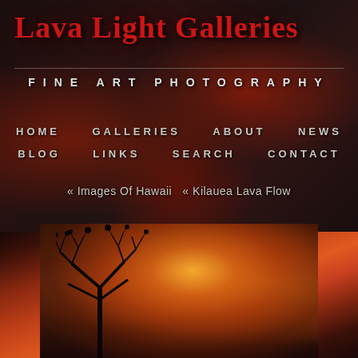Lava Light Galleries
FINE ART PHOTOGRAPHY
HOME
GALLERIES
ABOUT
NEWS
BLOG
LINKS
SEARCH
CONTACT
« Images Of Hawaii  « Kilauea Lava Flow
[Figure (photo): Dramatic lava glow photograph showing orange and red glowing sky with tree silhouette in foreground, Kilauea lava flow at night]